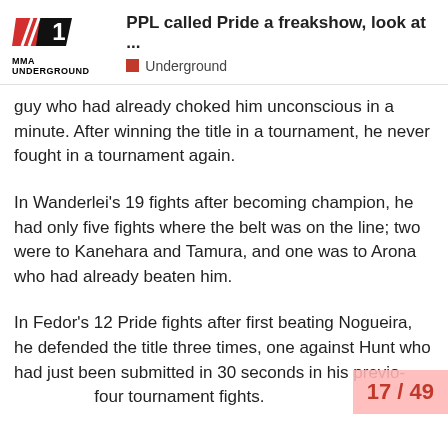PPL called Pride a freakshow, look at ... | Underground
guy who had already choked him unconscious in a minute. After winning the title in a tournament, he never fought in a tournament again.
In Wanderlei's 19 fights after becoming champion, he had only five fights where the belt was on the line; two were to Kanehara and Tamura, and one was to Arona who had already beaten him.
In Fedor's 12 Pride fights after first beating Nogueira, he defended the title three times, one against Hunt who had just been submitted in 30 seconds in his previous four tournament fights.